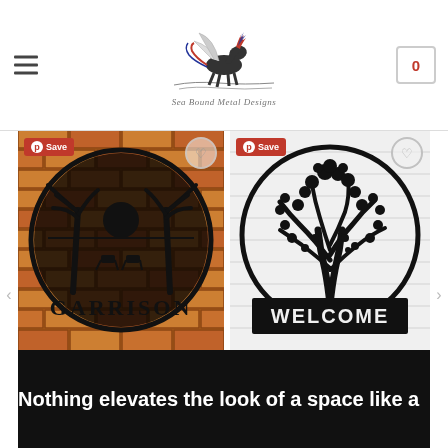Sea Bound Metal Designs — navigation header with logo, hamburger menu, and cart
[Figure (photo): Beach Sunset Monogram metal sign — circular black metal sign with palm trees, sunset, beach chairs, and 'GARRISON' text, mounted on brick wall background]
[Figure (photo): Tree of Life III Split Monogram metal sign — circular black metal tree of life design with 'WELCOME' text banner at bottom, on white shiplap background]
ADDRESS SIGNS
Beach Sunset Monogram
$75.99 – $250.99
METAL MONOGRAMS
Tree of Life III Split Monogram
$75.99 – $250.99
Nothing elevates the look of a space like a